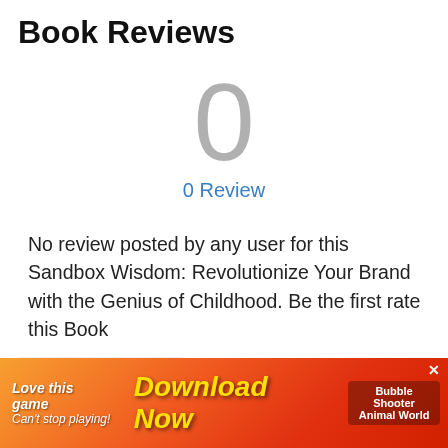Book Reviews
0
0 Review
No review posted by any user for this Sandbox Wisdom: Revolutionize Your Brand with the Genius of Childhood. Be the first rate this Book
Post Reviews
Related Books
[Figure (screenshot): Advertisement banner: colorful game ad with text 'Love this game Can't stop playing! Download Now' and 'Bubble Shooter Animal World' text with close X button]